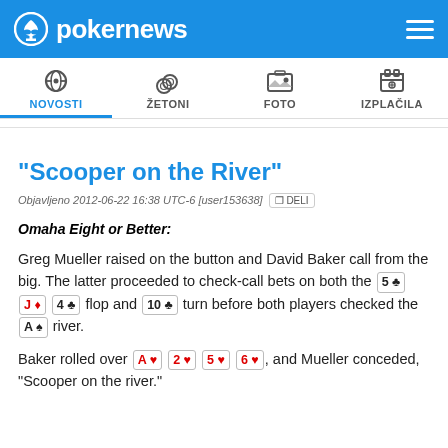pokernews
[Figure (screenshot): Navigation bar with icons: NOVOSTI (active), ŽETONI, FOTO, IZPLAČILA]
"Scooper on the River"
Objavljeno 2012-06-22 16:38 UTC-6 [user153638]  DELI
Omaha Eight or Better:
Greg Mueller raised on the button and David Baker call from the big. The latter proceeded to check-call bets on both the 5♣ J♦ 4♣ flop and 10♣ turn before both players checked the A♠ river.
Baker rolled over A♥ 2♥ 5♥ 6♥, and Mueller conceded, "Scooper on the river."